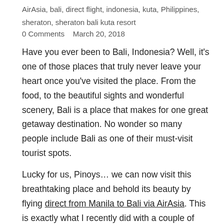AirAsia, bali, direct flight, indonesia, kuta, Philippines, sheraton, sheraton bali kuta resort
0 Comments    March 20, 2018
Have you ever been to Bali, Indonesia? Well, it's one of those places that truly never leave your heart once you've visited the place. From the food, to the beautiful sights and wonderful scenery, Bali is a place that makes for one great getaway destination. No wonder so many people include Bali as one of their must-visit tourist spots.
Lucky for us, Pinoys… we can now visit this breathtaking place and behold its beauty by flying direct from Manila to Bali via AirAsia. This is exactly what I recently did with a couple of friends and acquaintances and I'd like to share a few photos of our quick trip ahead of my full vlog (which will be posted on my YouTube channel and Facebook page) which is coming out very soon.